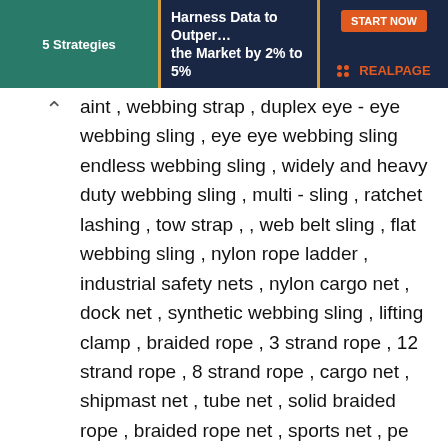[Figure (screenshot): Advertising banner for RealPage with dark navy background, green left section reading '5 Strategies', middle section reading 'Harness Data to Outperform the Market by 2% to 5%', and orange RealPage logo on right with 'START NOW' button]
aint , webbing strap , duplex eye - eye webbing sling , eye eye webbing sling endless webbing sling , widely and heavy duty webbing sling , multi - sling , ratchet lashing , tow strap , , web belt sling , flat webbing sling , nylon rope ladder , industrial safety nets , nylon cargo net , dock net , synthetic webbing sling , lifting clamp , braided rope , 3 strand rope , 12 strand rope , 8 strand rope , cargo net , shipmast net , tube net , solid braided rope , braided rope net , sports net , pe net , safety net , scaffold net , synthetic slings , wide lift sling , round webbing sling , flat webbing sling with eyes , flat webbing endless sling , wire rope sling , multi - set sling , pipe lifting sling , pipeline sling , lowering belt , heavy duty anti cutting sleeves , fiberglass rope , fiberglass wick , braided fiberglass rope , fiberglass rope lamp , fiberglass oil lamp wick , fiberglass strap , solid braided fiberglass rope - round , fiberglass tapes , ceramic fiber rope , fiberglass braided rope , pipe handling sling , lowering in belts , stone handling sling , car tractor package strap , car drawn hoisting belt , special purpose